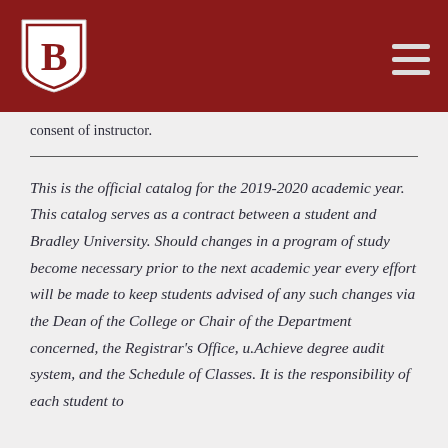Bradley University header with logo and navigation menu
consent of instructor.
This is the official catalog for the 2019-2020 academic year. This catalog serves as a contract between a student and Bradley University. Should changes in a program of study become necessary prior to the next academic year every effort will be made to keep students advised of any such changes via the Dean of the College or Chair of the Department concerned, the Registrar's Office, u.Achieve degree audit system, and the Schedule of Classes. It is the responsibility of each student to